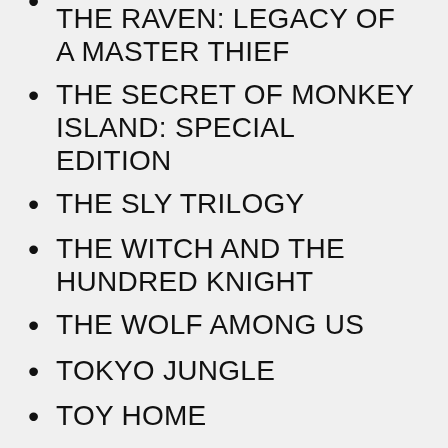THE RAVEN: LEGACY OF A MASTER THIEF
THE SECRET OF MONKEY ISLAND: SPECIAL EDITION
THE SLY TRILOGY
THE WITCH AND THE HUNDRED KNIGHT
THE WOLF AMONG US
TOKYO JUNGLE
TOY HOME
TOYBOX TURBOS
TRASH PANIC